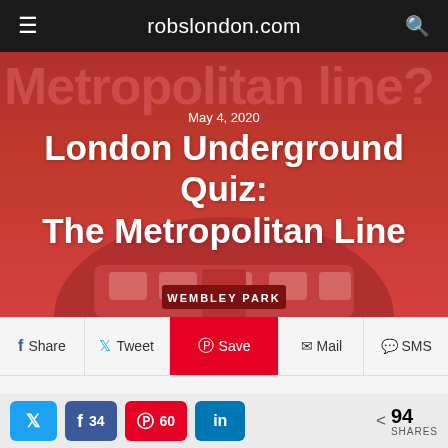robslondon.com
[Figure (illustration): Hero image showing a red background with 'Metropolitan line?' text and an illustration of a London Underground train at Wembley Park station with an arch, in red cartoon style.]
May 4, 2020
London Underground Quiz: The Metropolitan Line
WEMBLEY PARK
Share  Tweet  Save  Mail  SMS
The London Underground is the world's oldest metro system. Starting with the Metropolitan Railway (now the Metropolitan line) which opened way back in the
34  60  94 SHARES